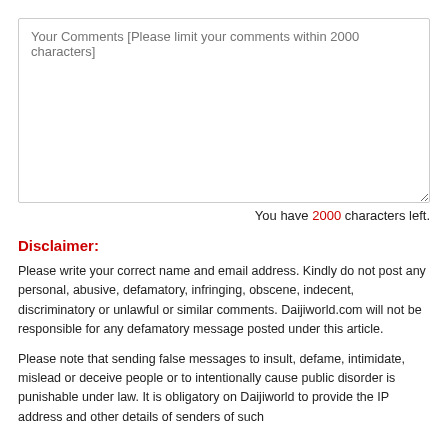[Figure (other): A resizable textarea input box with placeholder text 'Your Comments [Please limit your comments within 2000 characters]']
You have 2000 characters left.
Disclaimer:
Please write your correct name and email address. Kindly do not post any personal, abusive, defamatory, infringing, obscene, indecent, discriminatory or unlawful or similar comments. Daijiworld.com will not be responsible for any defamatory message posted under this article.
Please note that sending false messages to insult, defame, intimidate, mislead or deceive people or to intentionally cause public disorder is punishable under law. It is obligatory on Daijiworld to provide the IP address and other details of senders of such